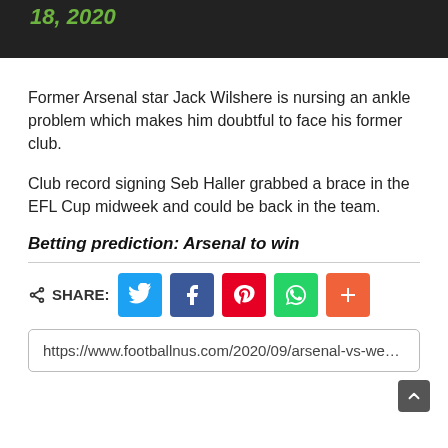18, 2020
Former Arsenal star Jack Wilshere is nursing an ankle problem which makes him doubtful to face his former club.
Club record signing Seb Haller grabbed a brace in the EFL Cup midweek and could be back in the team.
Betting prediction: Arsenal to win
[Figure (infographic): Social share bar with Twitter, Facebook, Pinterest, WhatsApp, and more (+) buttons]
https://www.footballnus.com/2020/09/arsenal-vs-west-ha